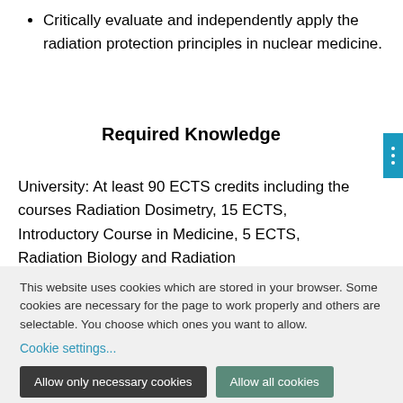Critically evaluate and independently apply the radiation protection principles in nuclear medicine.
Required Knowledge
University: At least 90 ECTS credits including the courses Radiation Dosimetry, 15 ECTS, Introductory Course in Medicine, 5 ECTS, Radiation Biology and Radiation
This website uses cookies which are stored in your browser. Some cookies are necessary for the page to work properly and others are selectable. You choose which ones you want to allow.
Cookie settings...
Allow only necessary cookies
Allow all cookies